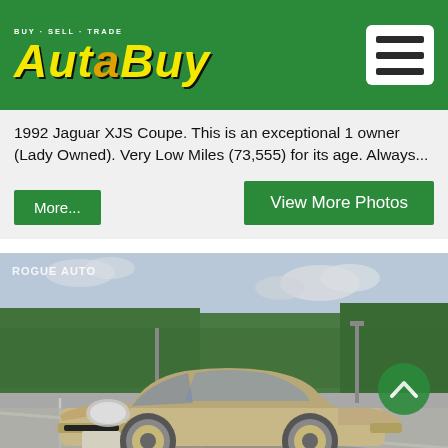[Figure (logo): AutaBuy logo - Buy Sell Trade, yellow italic text on green background with hamburger menu icon]
1992 Jaguar XJS Coupe. This is an exceptional 1 owner (Lady Owned). Very Low Miles (73,555) for its age. Always...
More...
View More Photos
[Figure (photo): 1992 Jaguar XJS Coupe in champagne/gold color, parked in a parking lot with trees in background, front 3/4 view. Watermark reads ROGUE AUTO.]